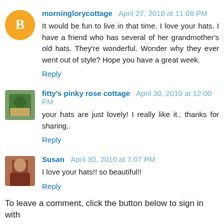morninglorycottage  April 27, 2010 at 11:08 PM
It would be fun to live in that time. I love your hats. I have a friend who has several of her grandmother's old hats. They're wonderful. Wonder why they ever went out of style? Hope you have a great week.
Reply
fitty's pinky rose cottage  April 30, 2010 at 12:00 PM
your hats are just lovely! I really like it.. thanks for sharing..
Reply
Susan  April 30, 2010 at 7:07 PM
I love your hats!! so beautiful!!
Reply
To leave a comment, click the button below to sign in with